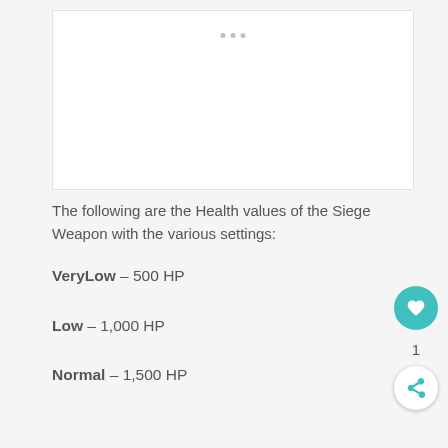[Figure (photo): Image placeholder with carousel dots at top, white background area for a game screenshot or image of a Siege Weapon]
The following are the Health values of the Siege Weapon with the various settings:
VeryLow – 500 HP
Low – 1,000 HP
Normal – 1,500 HP